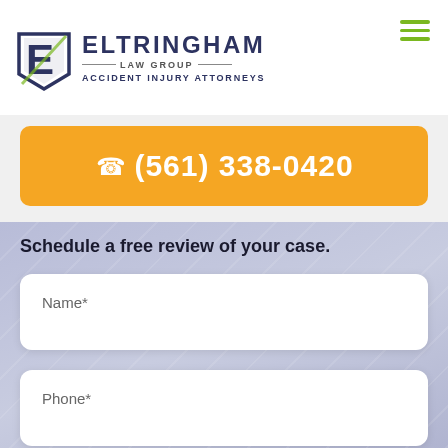[Figure (logo): Eltringham Law Group logo with shield/E icon and text: ELTRINGHAM LAW GROUP - ACCIDENT INJURY ATTORNEYS]
☎ (561) 338-0420
Schedule a free review of your case.
Name*
Phone*
Email*